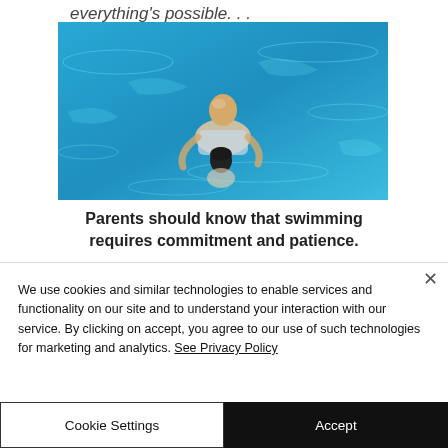everything's possible. . .
[Figure (photo): Aerial view of an adult and a child in a swimming pool with bright blue water; the adult appears to be giving a swimming lesson.]
Parents should know that swimming requires commitment and patience.
We use cookies and similar technologies to enable services and functionality on our site and to understand your interaction with our service. By clicking on accept, you agree to our use of such technologies for marketing and analytics. See Privacy Policy
Cookie Settings
Accept